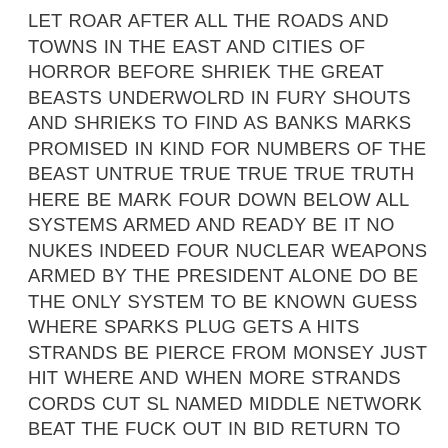LET ROAR AFTER ALL THE ROADS AND TOWNS IN THE EAST AND CITIES OF HORROR BEFORE SHRIEK THE GREAT BEASTS UNDERWOLRD IN FURY SHOUTS AND SHRIEKS TO FIND AS BANKS MARKS PROMISED IN KIND FOR NUMBERS OF THE BEAST UNTRUE TRUE TRUE TRUE TRUTH HERE BE MARK FOUR DOWN BELOW ALL SYSTEMS ARMED AND READY BE IT NO NUKES INDEED FOUR NUCLEAR WEAPONS ARMED BY THE PRESIDENT ALONE DO BE THE ONLY SYSTEM TO BE KNOWN GUESS WHERE SPARKS PLUG GETS A HITS STRANDS BE PIERCE FROM MONSEY JUST HIT WHERE AND WHEN MORE STRANDS CORDS CUT SL NAMED MIDDLE NETWORK BEAT THE FUCK OUT IN BID RETURN TO WIRES NETWORK BID DEATHWORK IN THE EXTRME CAMPAIGNS OF HATE IN HATES IN AND OF HOWELL HATES DISINFORMATION CAMPAIGNS SO MUCH THEY DO NOT CARE ABOUT SRANDS OR STRINGS OR WHATEVER HITLER BEE CALLED REAL WORLD CALLS AND A CRISIS NOT BEFORE THE UNDER BEEN TAKE